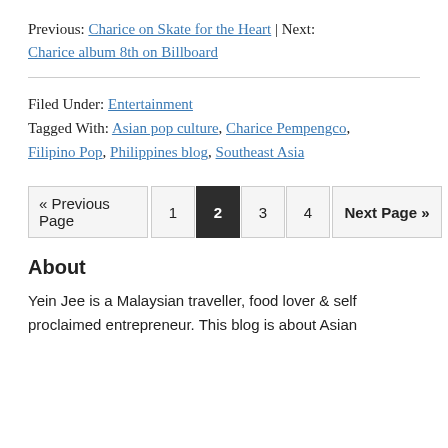Previous: Charice on Skate for the Heart | Next: Charice album 8th on Billboard
Filed Under: Entertainment
Tagged With: Asian pop culture, Charice Pempengco, Filipino Pop, Philippines blog, Southeast Asia
« Previous Page  1  2  3  4  Next Page »
About
Yein Jee is a Malaysian traveller, food lover & self proclaimed entrepreneur. This blog is about Asian